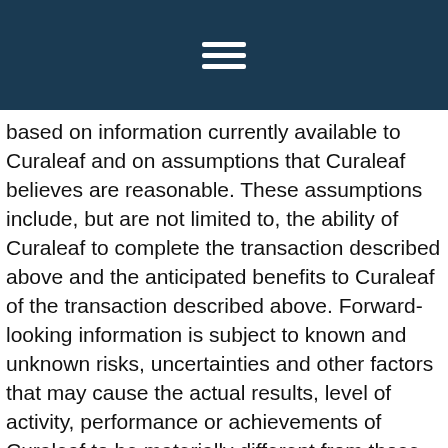based on information currently available to Curaleaf and on assumptions that Curaleaf believes are reasonable. These assumptions include, but are not limited to, the ability of Curaleaf to complete the transaction described above and the anticipated benefits to Curaleaf of the transaction described above. Forward-looking information is subject to known and unknown risks, uncertainties and other factors that may cause the actual results, level of activity, performance or achievements of Curaleaf to be materially different from those expressed or implied by such forward-looking information. Such risks and other factors may include, but are not limited to: general business, economic, competitive, political and social uncertainties; general capital market conditions and market prices for securities; the failure of Curaleaf to complete the transaction described above; the ability of Curaleaf to successfully integrate the business of Grassroots and their respective corporate cultures; delay or